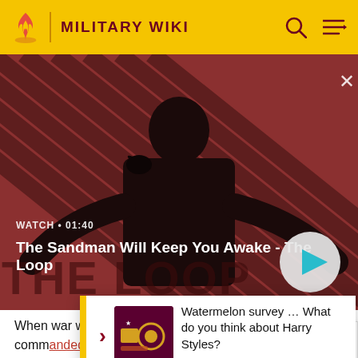MILITARY WIKI
[Figure (screenshot): Video banner showing The Sandman character with crow on shoulder, red diagonal stripe background. Watch time 01:40. Play button overlay.]
The Sandman Will Keep You Awake - The Loop
When war was declared, the Italian Fifth Army commanded by General Italo Gariboldi was located towa... Army comm... rds the ea...
Watermelon survey … What do you think about Harry Styles? TAKE THE SURVEY HERE